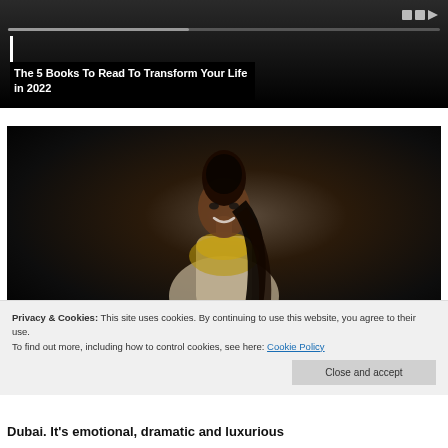[Figure (screenshot): A media player or article preview card showing a dark background with a progress bar and playback controls, overlaid with a book recommendation title on black background]
The 5 Books To Read To Transform Your Life in 2022
[Figure (photo): Portrait photo of a smiling woman with long dark hair in an updo, wearing a gold sequined top, photographed against a dark background]
Privacy & Cookies: This site uses cookies. By continuing to use this website, you agree to their use.
To find out more, including how to control cookies, see here: Cookie Policy
Close and accept
Dubai. It's emotional, dramatic and luxurious